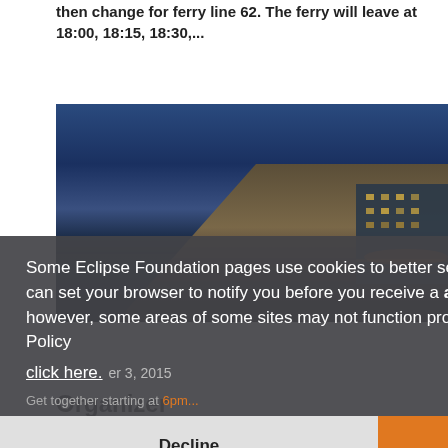then change for ferry line 62. The ferry will leave at 18:00, 18:15, 18:30,...
[Figure (photo): Nighttime photo of a modern glass building (Hamburg Docklands / Unilever building) reflected in water, with blue twilight sky]
Some Eclipse Foundation pages use cookies to better serve you when you return to the site. You can set your browser to notify you before you receive a cookie or turn off cookies. If you do so, however, some areas of some sites may not function properly. To read Eclipse Foundation Privacy Policy click here.
er 3, 2015
Get together starting at 6pm...
Organizer
Stefan Reichert, Zühlke Engineering